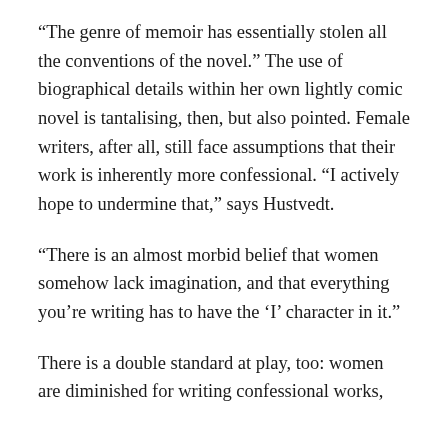“The genre of memoir has essentially stolen all the conventions of the novel.” The use of biographical details within her own lightly comic novel is tantalising, then, but also pointed. Female writers, after all, still face assumptions that their work is inherently more confessional. “I actively hope to undermine that,” says Hustvedt.
“There is an almost morbid belief that women somehow lack imagination, and that everything you’re writing has to have the ‘I’ character in it.”
There is a double standard at play, too: women are diminished for writing confessional works,